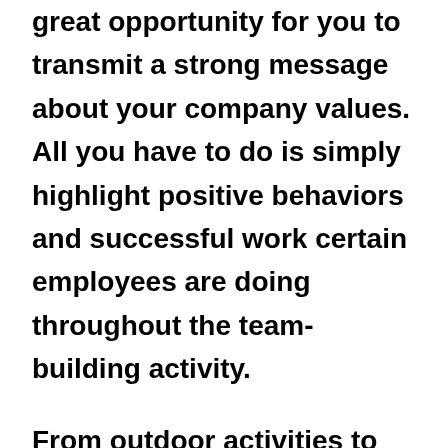great opportunity for you to transmit a strong message about your company values. All you have to do is simply highlight positive behaviors and successful work certain employees are doing throughout the team-building activity.
From outdoor activities to games, you can carry out in the office to virtual events that can be just as productive, keep reading to find out ten amazing team-building activity ideas that every Lebanese company should do.